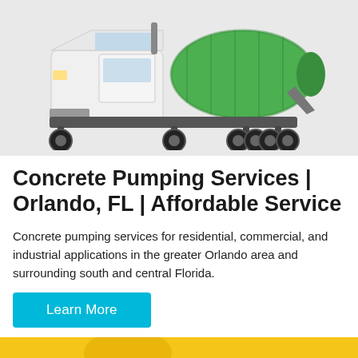[Figure (photo): A white and green concrete mixer truck on a light gray background]
Concrete Pumping Services | Orlando, FL | Affordable Service
Concrete pumping services for residential, commercial, and industrial applications in the greater Orlando area and surrounding south and central Florida.
Learn More
[Figure (other): Yellow promotional banner section with a concrete mixer illustration and bottom navigation bar showing Send Message and Inquiry Online buttons]